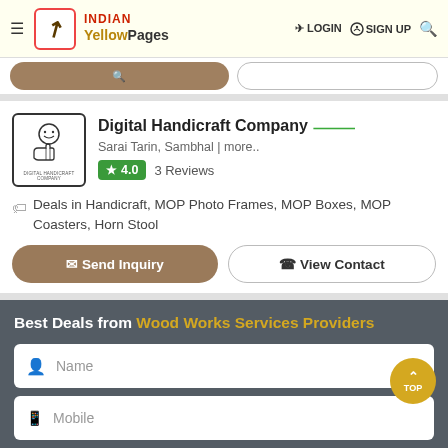INDIAN Yellow Pages | LOGIN | SIGN UP
Digital Handicraft Company — Sarai Tarin, Sambhal | more.. — 4.0 — 3 Reviews
Deals in Handicraft, MOP Photo Frames, MOP Boxes, MOP Coasters, Horn Stool
Send Inquiry | View Contact
Best Deals from Wood Works Services Providers
Name
Mobile
FILTER BY LOCALITY